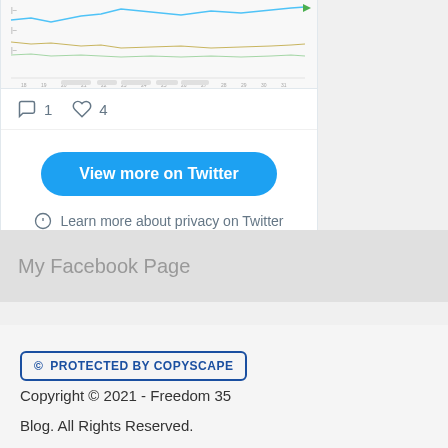[Figure (screenshot): Partial Twitter embed widget showing a line chart at the top (cropped), with reaction icons showing 1 comment and 4 likes below it.]
1   4
View more on Twitter
Learn more about privacy on Twitter
My Facebook Page
© PROTECTED BY COPYSCAPE   Copyright © 2021 - Freedom 35 Blog. All Rights Reserved.